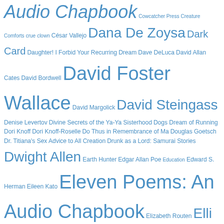Audio Chapbook Cowcatcher Press Creature Comforts crue clown César Vallejo Dana De Zoysa Dark Card Daughter! I Forbid Your Recurring Dream Dave DeLuca David Allan Cates David Bordwell David Foster Wallace David Margolick David Steingass Denise Levertov Divine Secrets of the Ya-Ya Sisterhood Dogs Dream of Running Dori Knoff Dori Knoff-Roselle Do Thus in Remembrance of Ma Douglas Goetsch Dr. Titiana's Sex Advice to All Creation Drunk as a Lord: Samurai Stories Dwight Allen Earth Hunter Edgar Allan Poe Education Edward S. Herman Eileen Kato Eleven Poems: An Audio Chapbook Elizabeth Routen Elli Hazit Emily Dickinson Eric Baus Ernest Hemingway Esperando a Loló Esther Clibon Eva Augusta Rumpf Eva Augustin Rumpf Eve Augustin Rumpf Evidence Eyes Wide Open Factory Stiff Farther Away Fear and Loathing in Seattle film noir Fisherman's Beach For Harold Brodkey For the Parade Frances May Frances Richey Frans Masereel Gary C. Busha Gay Davidson-Ziolsko George Vukelich...